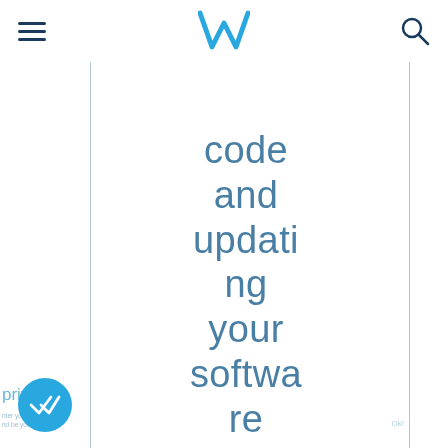W (logo with hamburger menu and search icon)
code and updating your software when